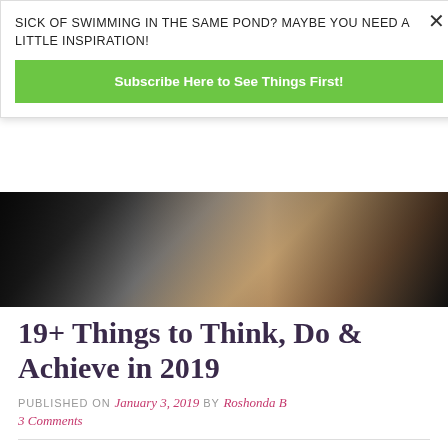SICK OF SWIMMING IN THE SAME POND? MAYBE YOU NEED A LITTLE INSPIRATION!
Subscribe Here to See Things First!
[Figure (photo): Overhead view of a desk with laptop, notebooks, coffee, and accessories on a wooden surface]
19+ Things to Think, Do & Achieve in 2019
PUBLISHED ON January 3, 2019 by Roshonda B 3 Comments
Well, 2019 is officially here ready or not.